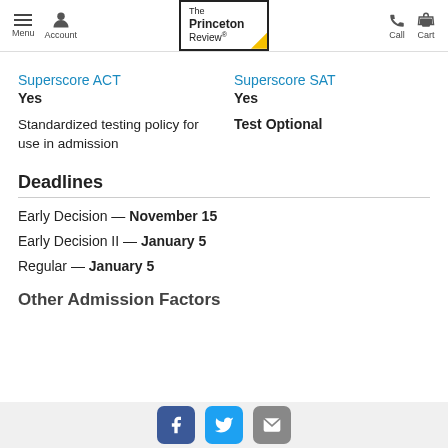The Princeton Review — Menu, Account, Call, Cart navigation
Superscore ACT
Yes
Superscore SAT
Yes
Standardized testing policy for use in admission
Test Optional
Deadlines
Early Decision — November 15
Early Decision II — January 5
Regular — January 5
Other Admission Factors
Social share buttons: Facebook, Twitter, Email